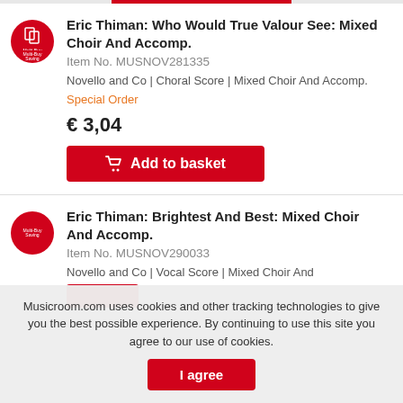Eric Thiman: Who Would True Valour See: Mixed Choir And Accomp.
Item No. MUSNOV281335
Novello and Co | Choral Score | Mixed Choir And Accomp.
Special Order
€ 3,04
Add to basket
Eric Thiman: Brightest And Best: Mixed Choir And Accomp.
Item No. MUSNOV290033
Novello and Co | Vocal Score | Mixed Choir And
Musicroom.com uses cookies and other tracking technologies to give you the best possible experience. By continuing to use this site you agree to our use of cookies.
I agree